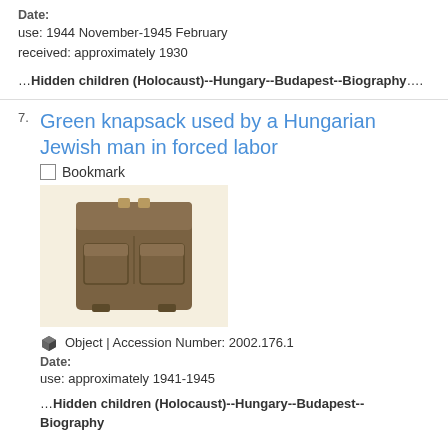Date:
use: 1944 November-1945 February
received: approximately 1930
…Hidden children (Holocaust)--Hungary--Budapest--Biography….
Green knapsack used by a Hungarian Jewish man in forced labor
Bookmark
[Figure (photo): Photo of a green/brown military-style knapsack with two front pockets and straps, on a beige background]
Object | Accession Number: 2002.176.1
Date:
use: approximately 1941-1945
…Hidden children (Holocaust)--Hungary--Budapest--Biography